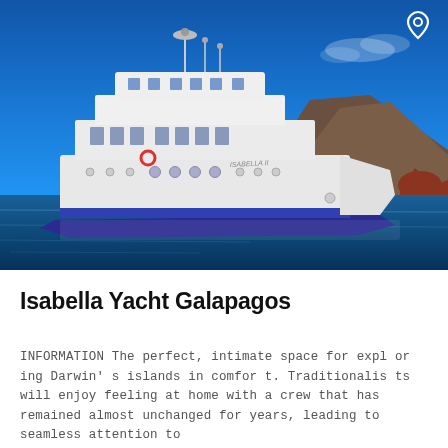[Figure (photo): A white cruise yacht named Isabella II sailing on blue ocean water with a volcanic island coastline in the background under a clear blue sky. A location pin icon appears in the top right corner of the image.]
Isabella Yacht Galapagos
INFORMATION The perfect, intimate space for exploring Darwin's islands in comfort. Traditionalists will enjoy feeling at home with a crew that has remained almost unchanged for years, leading to seamless attention to